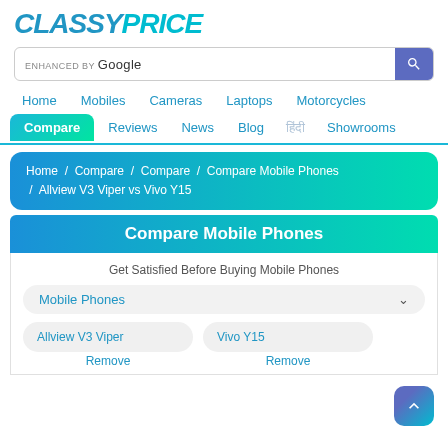[Figure (logo): ClassyPrice logo in teal/blue italic bold text]
[Figure (screenshot): Search bar with 'ENHANCED BY Google' text and blue search button]
Home   Mobiles   Cameras   Laptops   Motorcycles
Compare   Reviews   News   Blog   हिंदी   Showrooms
Home / Compare / Compare / Compare Mobile Phones / Allview V3 Viper vs Vivo Y15
Compare Mobile Phones
Get Satisfied Before Buying Mobile Phones
Mobile Phones ∨
Allview V3 Viper   Vivo Y15
Remove   Remove